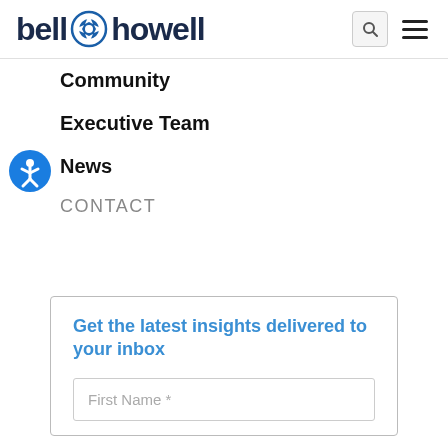bell howell
Community
Executive Team
News
CONTACT
Get the latest insights delivered to your inbox
First Name *